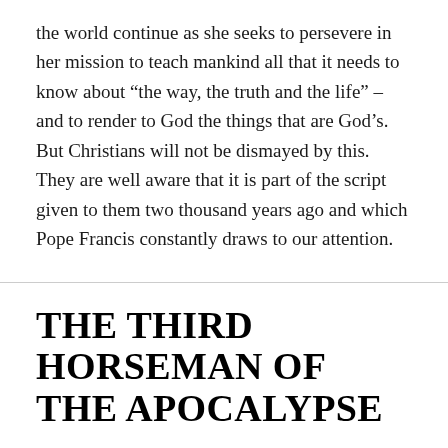the world continue as she seeks to persevere in her mission to teach mankind all that it needs to know about “the way, the truth and the life” – and to render to God the things that are God’s. But Christians will not be dismayed by this. They are well aware that it is part of the script given to them two thousand years ago and which Pope Francis constantly draws to our attention.
THE THIRD HORSEMAN OF THE APOCALYPSE
ON APRIL 24, 2020 / BY MICHAEL KIRKE